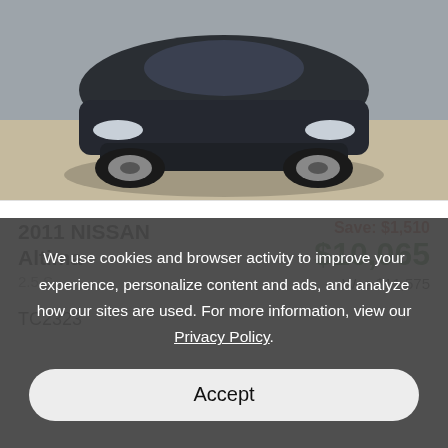[Figure (photo): Front view of a dark-colored Nissan Altima car photographed from above on a light concrete surface]
2011 NISSAN Altima
2.5 S
Save: $1,510
$10,065
Was $11,575
TC2323
We use cookies and browser activity to improve your experience, personalize content and ads, and analyze how our sites are used. For more information, view our Privacy Policy.
Accept